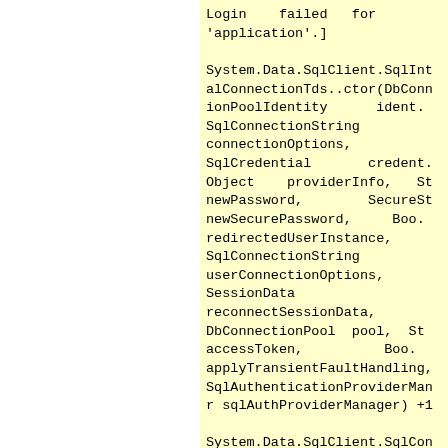Login    failed   for
'application'.]

System.Data.SqlClient.SqlInt
alConnectionTds..ctor(DbConn
ionPoolIdentity      ident.
SqlConnectionString
connectionOptions,
SqlCredential       credent.
Object    providerInfo,   St
newPassword,        SecureSt
newSecurePassword,     Boo.
redirectedUserInstance,
SqlConnectionString
userConnectionOptions,
SessionData
reconnectSessionData,
DbConnectionPool  pool,  St
accessToken,          Boo.
applyTransientFaultHandling,
SqlAuthenticationProviderMan
r sqlAuthProviderManager) +1

System.Data.SqlClient.SqlCon